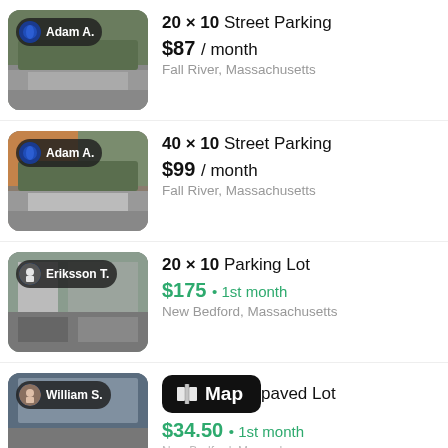[Figure (screenshot): Listing 1: Adam A. thumbnail - street parking photo with user badge]
20 × 10 Street Parking
$87 / month
Fall River, Massachusetts
[Figure (screenshot): Listing 2: Adam A. thumbnail - street parking photo with user badge]
40 × 10 Street Parking
$99 / month
Fall River, Massachusetts
[Figure (screenshot): Listing 3: Eriksson T. thumbnail - parking lot photo with user badge]
20 × 10 Parking Lot
$175 • 1st month
New Bedford, Massachusetts
[Figure (screenshot): Listing 4: William S. thumbnail - paved lot photo with user badge, Map button overlay]
paved Lot
$34.50 • 1st month
New Bedford, Massachusetts